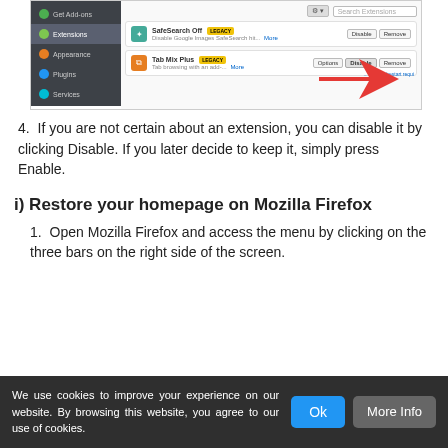[Figure (screenshot): Firefox Add-ons Manager showing Extensions tab with SafeSearch Off and Tab Mix Plus extensions. A red arrow points to the Disable button for Tab Mix Plus.]
4. If you are not certain about an extension, you can disable it by clicking Disable. If you later decide to keep it, simply press Enable.
i) Restore your homepage on Mozilla Firefox
1. Open Mozilla Firefox and access the menu by clicking on the three bars on the right side of the screen.
We use cookies to improve your experience on our website. By browsing this website, you agree to our use of cookies.